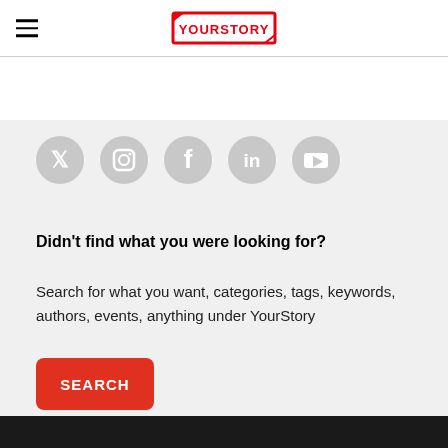YOURSTORY
[Figure (illustration): Social media icons row: Twitter, Instagram, Facebook, LinkedIn, YouTube — all in gray circles]
Didn't find what you were looking for?
Search for what you want, categories, tags, keywords, authors, events, anything under YourStory
SEARCH